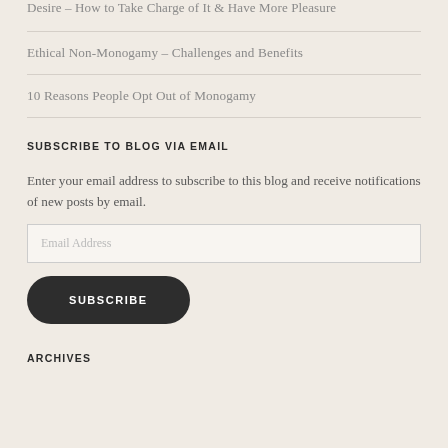Desire – How to Take Charge of It & Have More Pleasure
Ethical Non-Monogamy – Challenges and Benefits
10 Reasons People Opt Out of Monogamy
SUBSCRIBE TO BLOG VIA EMAIL
Enter your email address to subscribe to this blog and receive notifications of new posts by email.
Email Address
SUBSCRIBE
ARCHIVES